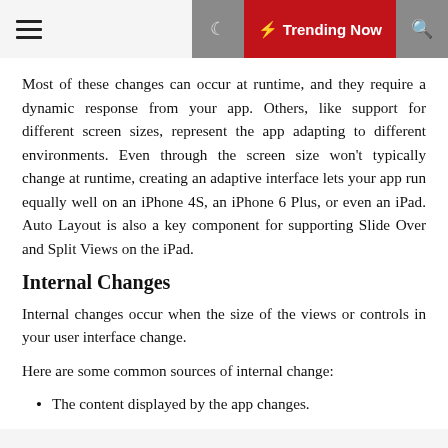☰  🌙  ⚡ Trending Now  🔍
Most of these changes can occur at runtime, and they require a dynamic response from your app. Others, like support for different screen sizes, represent the app adapting to different environments. Even through the screen size won't typically change at runtime, creating an adaptive interface lets your app run equally well on an iPhone 4S, an iPhone 6 Plus, or even an iPad. Auto Layout is also a key component for supporting Slide Over and Split Views on the iPad.
Internal Changes
Internal changes occur when the size of the views or controls in your user interface change.
Here are some common sources of internal change:
The content displayed by the app changes.